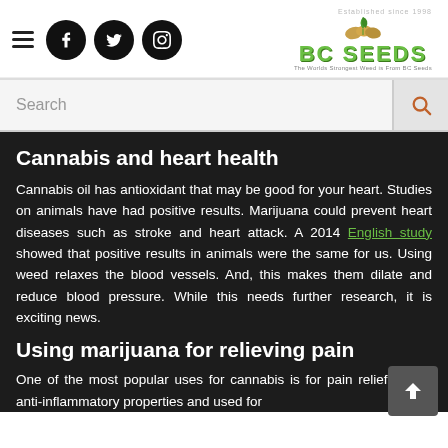BC Seeds website header with hamburger menu, social icons (Facebook, Twitter, Instagram), search bar, and BC Seeds logo
Cannabis and heart health
Cannabis oil has antioxidant that may be good for your heart. Studies on animals have had positive results. Marijuana could prevent heart diseases such as stroke and heart attack. A 2014 English study showed that positive results in animals were the same for us. Using weed relaxes the blood vessels. And, this makes them dilate and reduce blood pressure. While this needs further research, it is exciting news.
Using marijuana for relieving pain
One of the most popular uses for cannabis is for pain relief. It has anti-inflammatory properties and used for